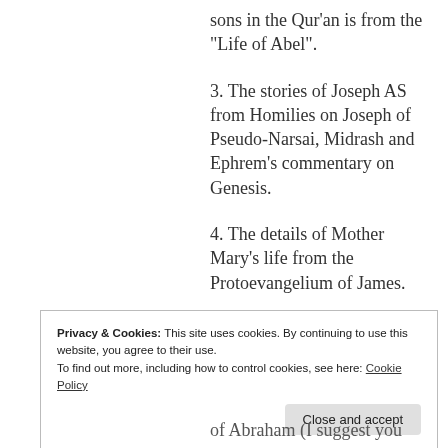sons in the Qur’an is from the “Life of Abel”.
3. The stories of Joseph AS from Homilies on Joseph of Pseudo-Narsai, Midrash and Ephrem’s commentary on Genesis.
4. The details of Mother Mary’s life from the Protoevangelium of James.
Privacy & Cookies: This site uses cookies. By continuing to use this website, you agree to their use.
To find out more, including how to control cookies, see here: Cookie Policy
of Abraham (I suggest you